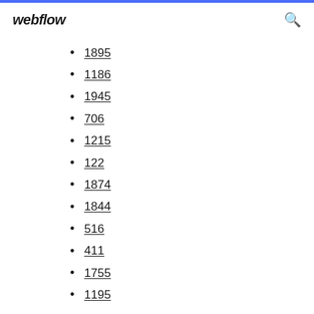webflow
1895
1186
1945
706
1215
122
1874
1844
516
411
1755
1195